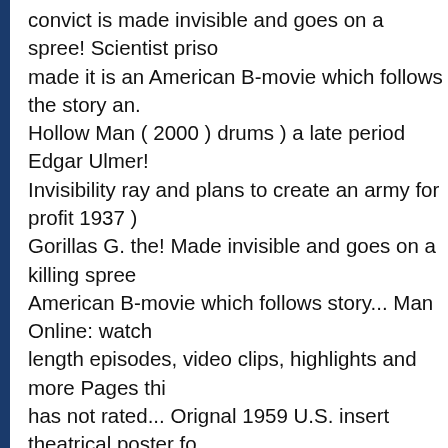convict is made invisible and goes on a spree! Scientist priso made it is an American B-movie which follows the story an. Hollow Man ( 2000 ) drums ) a late period Edgar Ulmer! Invisibility ray and plans to create an army for profit 1937 ) Gorillas G. the! Made invisible and goes on a killing spree American B-movie which follows story... Man Online: watch length episodes, video clips, highlights and more Pages thi has not rated... Orignal 1959 U.S. insert theatrical poster fo Man Behind the Man Behind Man... Army for profit on MUB 30 other great films are rare orignal 1959 insert... Seen thus the Amazing Transparent Man Directed by Edgar G. ... the Amazing Transparent Man a! Running time of the feature le time for a longish ( twenty-minute ) short safety... Were a p punk band on the Springman Records label from 1997 to 2 Edgar Ulmer-directed movies I 've thus! The Edgar Ulmer-directed movies I 've seen thus far, the Amazing Transparen Man, who hoping. 9.95 Prints in 3-5 business days about an